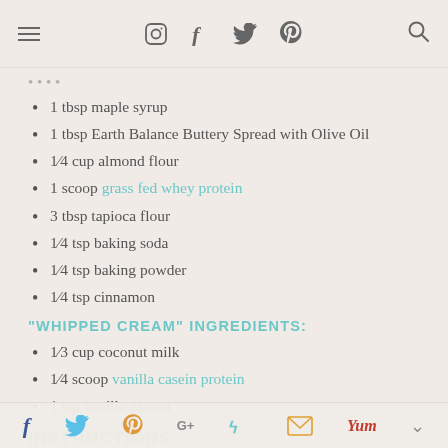Navigation header with hamburger menu, social icons (Instagram, Facebook, Twitter, Pinterest), and search icon
1 tbsp maple syrup
1 tbsp Earth Balance Buttery Spread with Olive Oil
1/4 cup almond flour
1 scoop grass fed whey protein
3 tbsp tapioca flour
1/4 tsp baking soda
1/4 tsp baking powder
1/4 tsp cinnamon
"WHIPPED CREAM" INGREDIENTS:
1/3 cup coconut milk
1/4 scoop vanilla casein protein
1 tsp vanilla extract
INSTRUCTIONS
1. Refrigerate a can of coconut milk overnight.  In the morning, flip can upside down and open from the bottom.  Pour the creamy liquid off the top, reserving the harder coconut milk that separated overnight.*
2. Using a hand blender, blend reserved coconut milk with
Social share bar: Facebook, Twitter, Pinterest, Google+, StumbleUpon, Email, Yummly